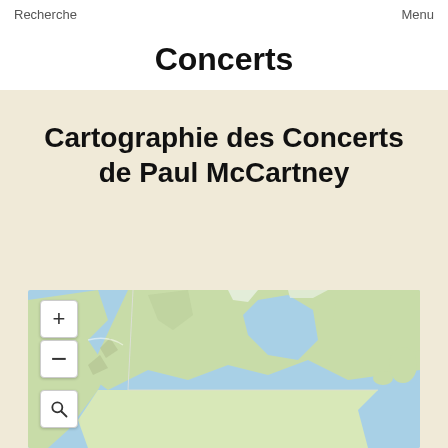Recherche    Menu
Concerts
Cartographie des Concerts de Paul McCartney
[Figure (map): Interactive map showing North America including Canada, Alaska, and the United States, with ocean areas in blue and land in green/beige. Map controls include zoom in (+), zoom out (-), and search (magnifying glass) buttons on the left side.]